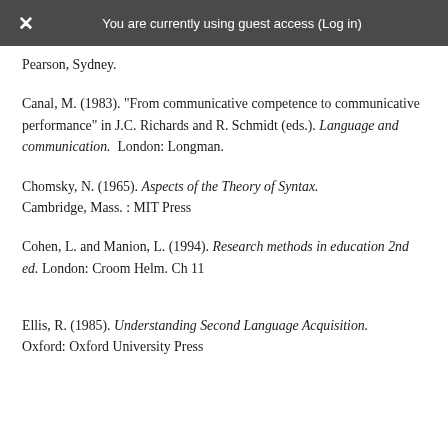You are currently using guest access (Log in)
Pearson, Sydney.
Canal, M. (1983). "From communicative competence to communicative performance" in J.C. Richards and R. Schmidt (eds.). Language and communication.  London: Longman.
Chomsky, N. (1965). Aspects of the Theory of Syntax. Cambridge, Mass. : MIT Press
Cohen, L. and Manion, L. (1994). Research methods in education 2nd ed. London: Croom Helm. Ch 11
Ellis, R. (1985). Understanding Second Language Acquisition. Oxford: Oxford University Press